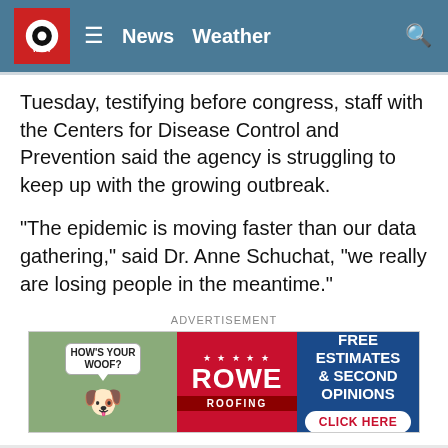WCTV News Weather
Tuesday, testifying before congress, staff with the Centers for Disease Control and Prevention said the agency is struggling to keep up with the growing outbreak.
"The epidemic is moving faster than our data gathering," said Dr. Anne Schuchat, "we really are losing people in the meantime."
[Figure (other): Advertisement banner for Rowe Roofing: dog with speech bubble saying 'How's Your Woof?', Rowe Roofing logo in red, and blue panel with text 'Free Estimates & Second Opinions - Click Here']
On Friday, the Florida Department of Health announced it was responding to the emerging public health issue.
The department said it was coordinating with federal